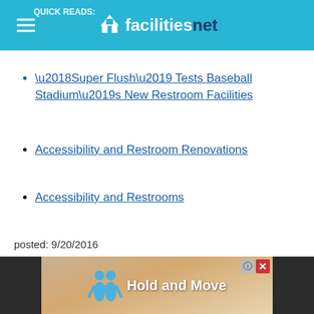QUICK READS: facilitiesnet
‘Super Flush’ Tests Baseball Stadium’s New Restroom Facilities
Accessibility and Restroom Renovations
Accessibility and Restrooms
posted: 9/20/2016
[Figure (other): Advertisement banner showing 'Hold and Move' with cartoon figures, with close and help buttons]